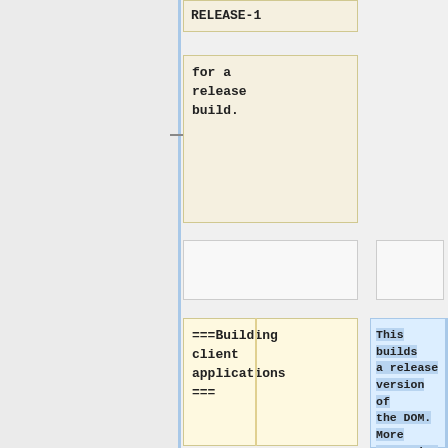RELEASE-1
for a release build.
===Building client applications===
This builds a release version of the DOM. More extensive documentation of our make build system is available in the [http://collada-dom.svn.sour